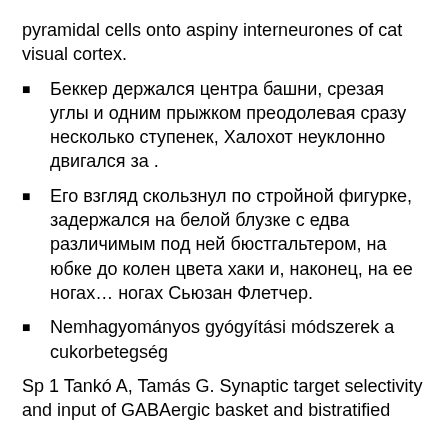pyramidal cells onto aspiny interneurones of cat visual cortex.
Беккер держался центра башни, срезая углы и одним прыжком преодолевая сразу несколько ступенек, Халохот неуклонно двигался за .
Его взгляд скользнул по стройной фигурке, задержался на белой блузке с едва различимым под ней бюстгальтером, на юбке до колен цвета хаки и, наконец, на ее ногах… ногах Сьюзан Флетчер.
Nemhagyományos gyógyítási módszerek a cukorbetegség
Sp 1 Tankó A, Tamás G. Synaptic target selectivity and input of GABAergic basket and bistratified